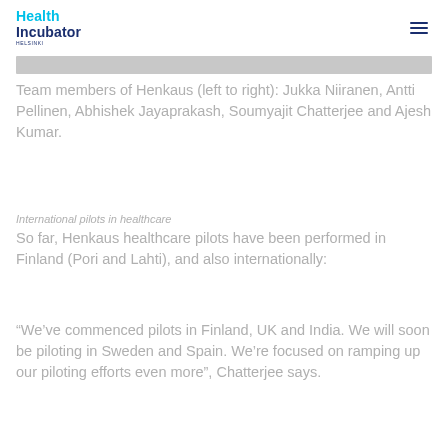Health Incubator Helsinki
[Figure (photo): Horizontal photo strip showing team members of Henkaus]
Team members of Henkaus (left to right): Jukka Niiranen, Antti Pellinen, Abhishek Jayaprakash, Soumyajit Chatterjee and Ajesh Kumar.
International pilots in healthcare
So far, Henkaus healthcare pilots have been performed in Finland (Pori and Lahti), and also internationally:
“We’ve commenced pilots in Finland, UK and India. We will soon be piloting in Sweden and Spain. We’re focused on ramping up our piloting efforts even more”, Chatterjee says.